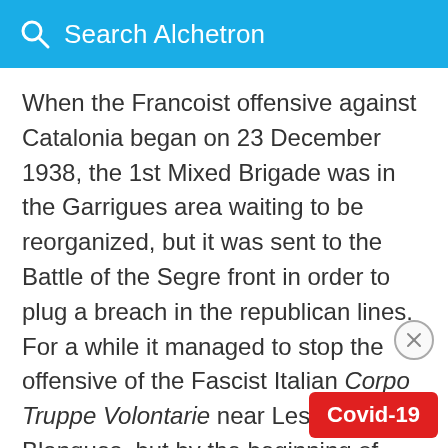Search Alchetron
When the Francoist offensive against Catalonia began on 23 December 1938, the 1st Mixed Brigade was in the Garrigues area waiting to be reorganized, but it was sent to the Battle of the Segre front in order to plug a breach in the republican lines. For a while it managed to stop the offensive of the Fascist Italian Corpo Truppe Volontarie near Les Borges Blanques, but by the beginning of January 1939 it had to retreat towards the north. By 3 February it reached Girona, and on 5 February it still held fast against the Francoist pressure by the banks of the Ter River. Nevertheless, on 9 February in the evening it crossed the French border at Portbou and became